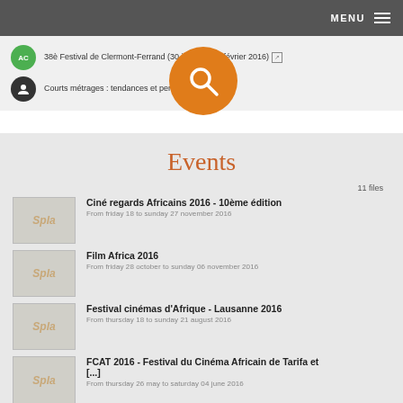MENU
38è Festival de Clermont-Ferrand (30 janvier - 13 février 2016) ↗
Courts métrages : tendances et perspectives ↗
Events
11 files
Ciné regards Africains 2016 - 10ème édition
From friday 18 to sunday 27 november 2016
Film Africa 2016
From friday 28 october to sunday 06 november 2016
Festival cinémas d'Afrique - Lausanne 2016
From thursday 18 to sunday 21 august 2016
FCAT 2016 - Festival du Cinéma Africain de Tarifa et [...]
From thursday 26 may to saturday 04 june 2016
26th African, Asian and Latin American Film Festival [...]
From monday 04 to sunday 10 april 2016
Festival International de Films de Fribourg 2016